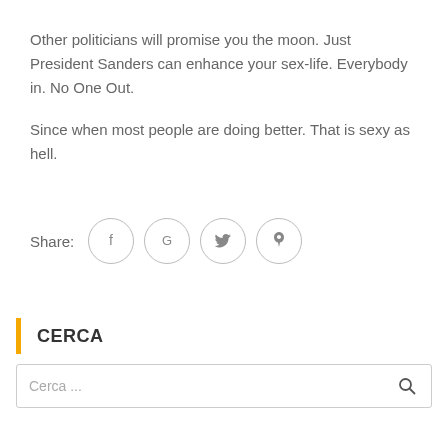Other politicians will promise you the moon. Just President Sanders can enhance your sex-life. Everybody in. No One Out.
Since when most people are doing better. That is sexy as hell.
[Figure (other): Share buttons row with label 'Share:' followed by four circular icon buttons for Facebook (f), Google (G), Twitter (bird), and Pinterest (p)]
CERCA
Cerca ...